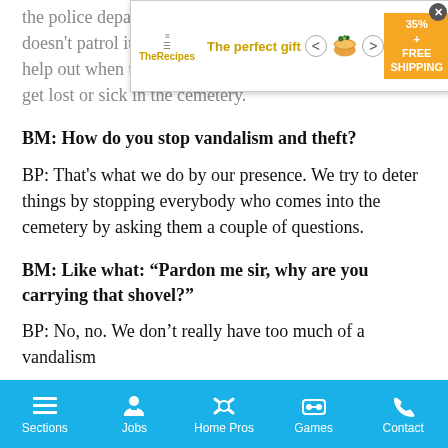[Figure (other): Advertisement banner: 'The perfect gift' from TheRecipes.com with bowl image, navigation arrows, 35% off and FREE SHIPPING promotional badge, and close button]
the police department, because the police department doesn't patrol it. We prevent vandalism and theft. We help out when there are car accidents or when people get lost or sick in the cemetery.
BM: How do you stop vandalism and theft?
BP: That's what we do by our presence. We try to deter things by stopping everybody who comes into the cemetery by asking them a couple of questions.
BM: Like what: “Pardon me sir, why are you carrying that shovel?”
BP: No, no. We don’t really have too much of a vandalism
Sections   Jobs   Home Pros   Games   Contact